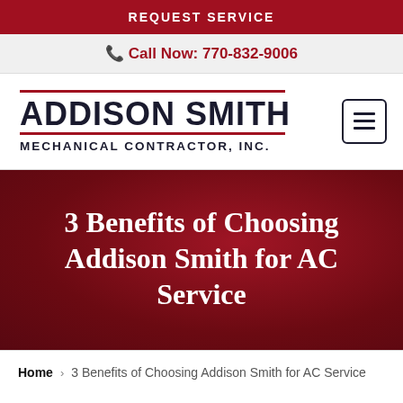REQUEST SERVICE
Call Now: 770-832-9006
[Figure (logo): Addison Smith Mechanical Contractor, Inc. logo with two red horizontal lines above and below the company name]
3 Benefits of Choosing Addison Smith for AC Service
Home > 3 Benefits of Choosing Addison Smith for AC Service